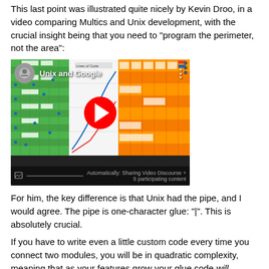This last point was illustrated quite nicely by Kevin Droo, in a video comparing Multics and Unix development, with the crucial insight being that you need to "program the perimeter, not the area":
[Figure (screenshot): YouTube video thumbnail showing 'Unix and Google' with a play button overlay. The thumbnail contains a green grid panel on the left, a white panel with lines in the middle, and an orange grid panel on the right.]
For him, the key difference is that Unix had the pipe, and I would agree. The pipe is one-character glue: "|". This is absolutely crucial.
If you have to write even a little custom code every time you connect two modules, you will be in quadratic complexity, meaning that as your features grow your glue code will